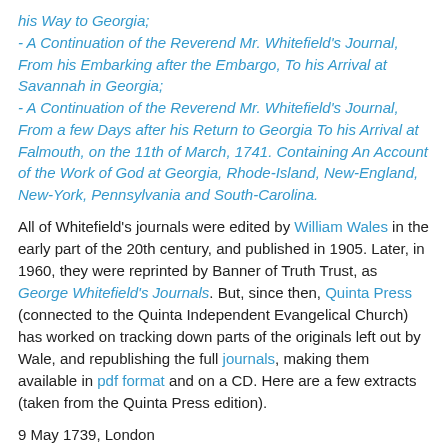his Way to Georgia; - A Continuation of the Reverend Mr. Whitefield's Journal, From his Embarking after the Embargo, To his Arrival at Savannah in Georgia; - A Continuation of the Reverend Mr. Whitefield's Journal, From a few Days after his Return to Georgia To his Arrival at Falmouth, on the 11th of March, 1741. Containing An Account of the Work of God at Georgia, Rhode-Island, New-England, New-York, Pennsylvania and South-Carolina.
All of Whitefield's journals were edited by William Wales in the early part of the 20th century, and published in 1905. Later, in 1960, they were reprinted by Banner of Truth Trust, as George Whitefield's Journals. But, since then, Quinta Press (connected to the Quinta Independent Evangelical Church) has worked on tracking down parts of the originals left out by Wale, and republishing the full journals, making them available in pdf format and on a CD. Here are a few extracts (taken from the Quinta Press edition).
9 May 1739, London
'Waited at Noon upon the honourable Trustees fro Georgia.